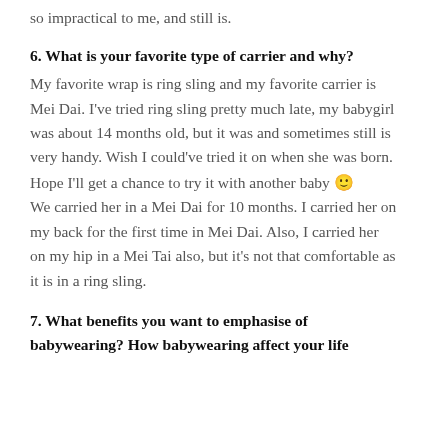so impractical to me, and still is.
6. What is your favorite type of carrier and why?
My favorite wrap is ring sling and my favorite carrier is Mei Dai. I've tried ring sling pretty much late, my babygirl was about 14 months old, but it was and sometimes still is very handy. Wish I could've tried it on when she was born. Hope I'll get a chance to try it with another baby 🙂 We carried her in a Mei Dai for 10 months. I carried her on my back for the first time in Mei Dai. Also, I carried her on my hip in a Mei Tai also, but it's not that comfortable as it is in a ring sling.
7. What benefits you want to emphasise of babywearing? How babywearing affect your life